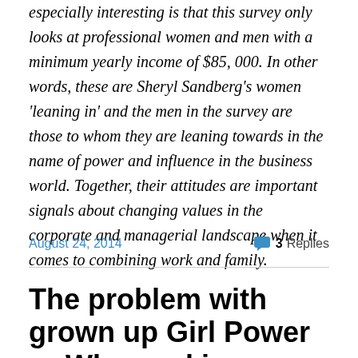especially interesting is that this survey only looks at professional women and men with a minimum yearly income of $85, 000. In other words, these are Sheryl Sandberg’s women ‘leaning in’ and the men in the survey are those to whom they are leaning towards in the name of power and influence in the business world. Together, their attitudes are important signals about changing values in the corporate and managerial landscape when it comes to combining work and family.
August 24, 2014
3 Replies
The problem with grown up Girl Power or Why working conditions for her, not hi